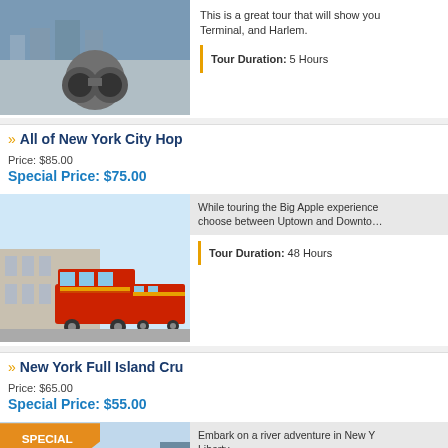[Figure (photo): Binoculars overlooking NYC skyline]
This is a great tour that will show you Terminal, and Harlem.
Tour Duration: 5 Hours
All of New York City Hop
Price: $85.00
Special Price: $75.00
[Figure (photo): Red double-decker hop-on hop-off bus in front of Yankee Stadium]
While touring the Big Apple experience choose between Uptown and Downtown
Tour Duration: 48 Hours
New York Full Island Cru
Price: $65.00
Special Price: $55.00
[Figure (photo): Circle Line cruise boat with Special Offer badge]
Embark on a river adventure in New Y Liberty.
Tour Duration: 2 Hours 30 Minutes